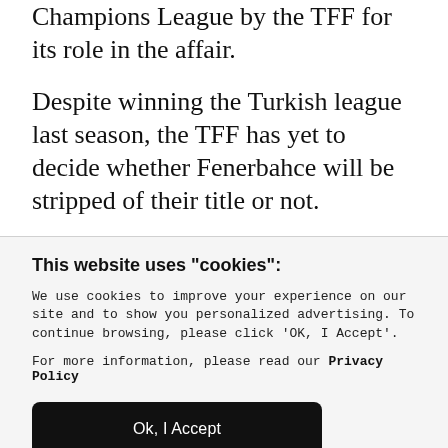Champions League by the TFF for its role in the affair.
Despite winning the Turkish league last season, the TFF has yet to decide whether Fenerbahce will be stripped of their title or not.
This website uses "cookies":
We use cookies to improve your experience on our site and to show you personalized advertising. To continue browsing, please click 'OK, I Accept'.
For more information, please read our Privacy Policy
Ok, I Accept